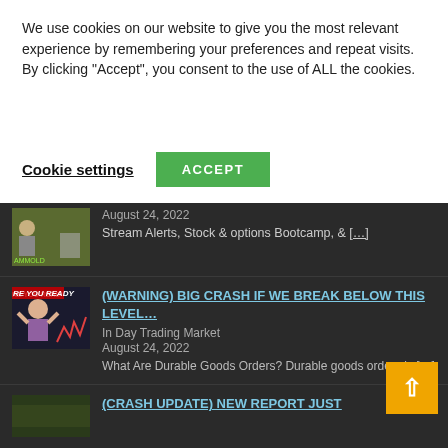We use cookies on our website to give you the most relevant experience by remembering your preferences and repeat visits. By clicking “Accept”, you consent to the use of ALL the cookies.
Cookie settings  ACCEPT
August 24, 2022
Stream Alerts, Stock & options Bootcamp, & [...]
(WARNING) BIG CRASH IF WE BREAK BELOW THIS LEVEL…
In Day Trading Market
August 24, 2022
What Are Durable Goods Orders? Durable goods orders is [...]
(CRASH UPDATE) NEW REPORT JUST